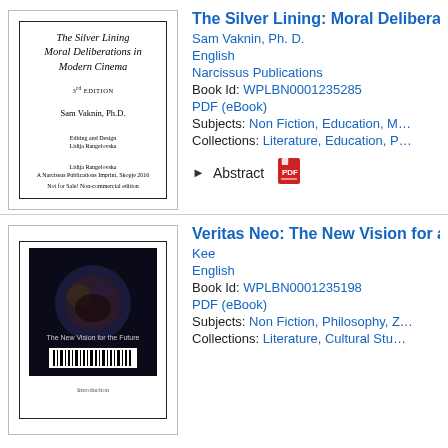[Figure (illustration): Book cover for 'The Silver Lining Moral Deliberations in Modern Cinema' by Sam Vaknin, Ph.D., with editing and design by Lidija Rangelovska, Narcissus Publications]
The Silver Lining: Moral Delibera...
Sam Vaknin, Ph. D.
English
Narcissus Publications
Book Id: WPLBN0001235285
PDF (eBook)
Subjects: Non Fiction, Education, M...
Collections: Literature, Education, P...
Abstract
[Figure (illustration): Book cover for 'Veritas Neo: The New Vision for...' by Kee, showing a dark cover with imagery]
Veritas Neo: The New Vision for a...
Kee
English
Book Id: WPLBN0001235198
PDF (eBook)
Subjects: Non Fiction, Philosophy, Z...
Collections: Literature, Cultural Stu...